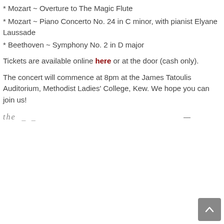* Mozart ~ Overture to The Magic Flute
* Mozart ~ Piano Concerto No. 24 in C minor, with pianist Elyane Laussade
* Beethoven ~ Symphony No. 2 in D major
Tickets are available online here or at the door (cash only).
The concert will commence at 8pm at the James Tatoulis Auditorium, Methodist Ladies' College, Kew. We hope you can join us!
[Figure (logo): Partial logo/watermark text reading 'the _ _' with a dash on the right side]